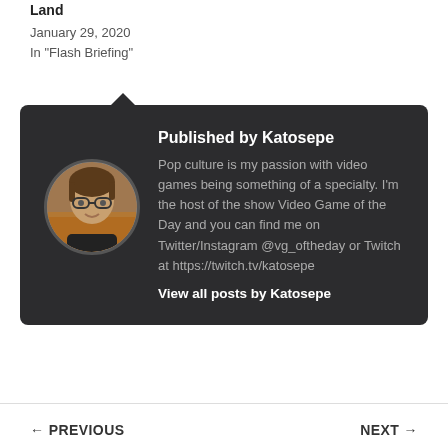Land
January 29, 2020
In "Flash Briefing"
Published by Katosepe
Pop culture is my passion with video games being something of a specialty. I'm the host of the show Video Game of the Day and you can find me on Twitter/Instagram @vg_oftheday or Twitch at https://twitch.tv/katosepe
View all posts by Katosepe
← PREVIOUS    NEXT →